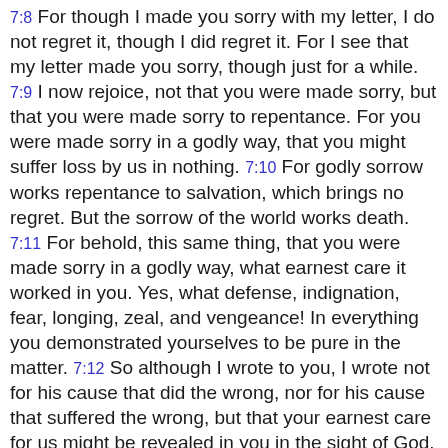7:8 For though I made you sorry with my letter, I do not regret it, though I did regret it. For I see that my letter made you sorry, though just for a while. 7:9 I now rejoice, not that you were made sorry, but that you were made sorry to repentance. For you were made sorry in a godly way, that you might suffer loss by us in nothing. 7:10 For godly sorrow works repentance to salvation, which brings no regret. But the sorrow of the world works death. 7:11 For behold, this same thing, that you were made sorry in a godly way, what earnest care it worked in you. Yes, what defense, indignation, fear, longing, zeal, and vengeance! In everything you demonstrated yourselves to be pure in the matter. 7:12 So although I wrote to you, I wrote not for his cause that did the wrong, nor for his cause that suffered the wrong, but that your earnest care for us might be revealed in you in the sight of God. 7:13 Therefore we have been comforted. In our comfort we rejoiced the more exceedingly for the joy of Titus, because his spirit has been refreshed by you all. 7:14 For if in anything I have boasted to him on your behalf, I was not disappointed. But as we spoke all things to you in truth, so our glorying also which I made before Titus was found to be truth. 7:15 His affection is more abundantly toward you, while he remembers all of your obedience, how with fear and trembling you received him. 7:16 I rejoice that in everything